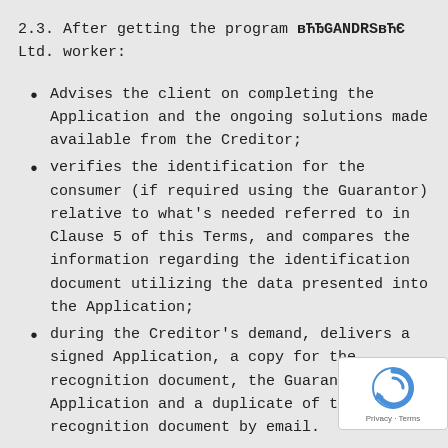2.3. After getting the program вЋЂGANDRSвЋЄ Ltd. worker:
Advises the client on completing the Application and the ongoing solutions made available from the Creditor;
verifies the identification for the consumer (if required using the Guarantor) relative to what's needed referred to in Clause 5 of this Terms, and compares the information regarding the identification document utilizing the data presented into the Application;
during the Creditor's demand, delivers a signed Application, a copy for the recognition document, the Guarantor's Application and a duplicate of their recognition document by email.